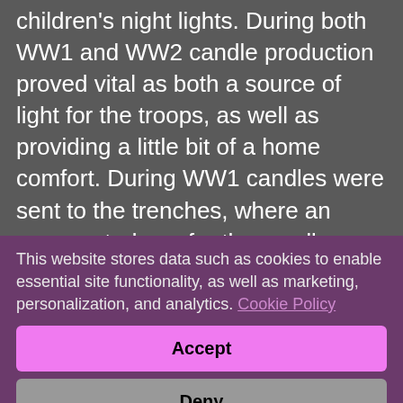children's night lights. During both WW1 and WW2 candle production proved vital as both a source of light for the troops, as well as providing a little bit of a home comfort. During WW1 candles were sent to the trenches, where an unexpected use for the candle developed, as a successful treatment for lice. Wax from lit candles would be dripped down the seams of their clothing to burn the lice out. During WW2 Price's candle factory in London was bombed, and so production had to increase in Broxburn to meet demand. During the bombing power stations and gas producing plants were also severely affected and so candles became...
This website stores data such as cookies to enable essential site functionality, as well as marketing, personalization, and analytics. Cookie Policy
Accept
Deny